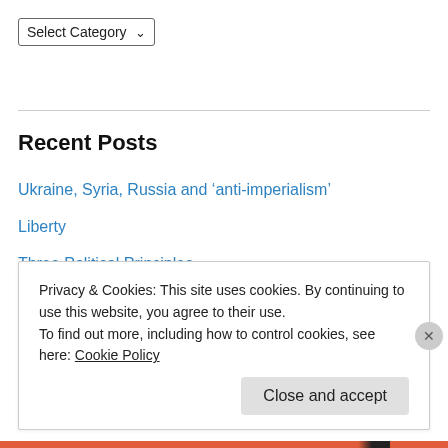[Figure (screenshot): Select Category dropdown widget with chevron arrow]
Recent Posts
Ukraine, Syria, Russia and 'anti-imperialism'
Liberty
Three Political Principles
The Left's Syrian Failure
This Body, A History
Irrationality
Ukraine Posts
Mossland
Privacy & Cookies: This site uses cookies. By continuing to use this website, you agree to their use.
To find out more, including how to control cookies, see here: Cookie Policy
Close and accept